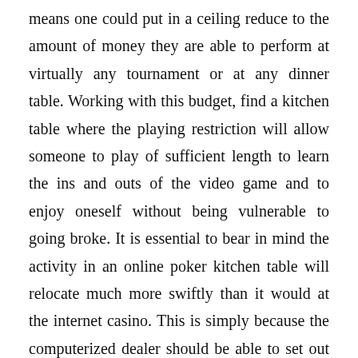means one could put in a ceiling reduce to the amount of money they are able to perform at virtually any tournament or at any dinner table. Working with this budget, find a kitchen table where the playing restriction will allow someone to play of sufficient length to learn the ins and outs of the video game and to enjoy oneself without being vulnerable to going broke. It is essential to bear in mind the activity in an online poker kitchen table will relocate much more swiftly than it would at the internet casino. This is simply because the computerized dealer should be able to set out the charge cards much faster than an actual physical seller. There's a real threat here in that one can get carried aside and, because one sees so many pots, one could end up gambling foolishly or based on their gut impulses instead of on his or her smart judgments relating to approach. Guarantee that rapid and